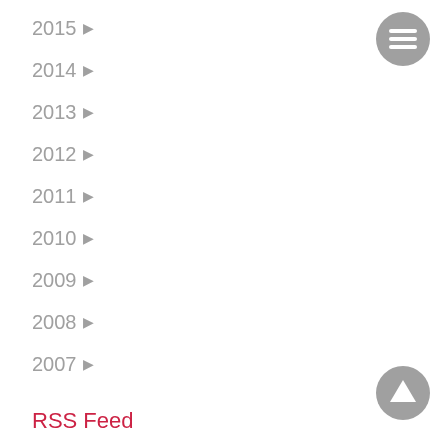2015 ▶
2014 ▶
2013 ▶
2012 ▶
2011 ▶
2010 ▶
2009 ▶
2008 ▶
2007 ▶
RSS Feed
[Figure (other): Hamburger menu button - circular grey icon with three horizontal white lines]
[Figure (other): Up arrow button - circular grey icon with white upward arrow]